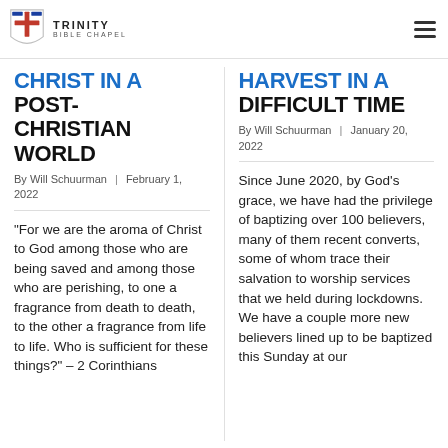TRINITY BIBLE CHAPEL
CHRIST IN A POST-CHRISTIAN WORLD
By Will Schuurman | February 1, 2022
"For we are the aroma of Christ to God among those who are being saved and among those who are perishing, to one a fragrance from death to death, to the other a fragrance from life to life. Who is sufficient for these things?" – 2 Corinthians
HARVEST IN A DIFFICULT TIME
By Will Schuurman | January 20, 2022
Since June 2020, by God's grace, we have had the privilege of baptizing over 100 believers, many of them recent converts, some of whom trace their salvation to worship services that we held during lockdowns. We have a couple more new believers lined up to be baptized this Sunday at our